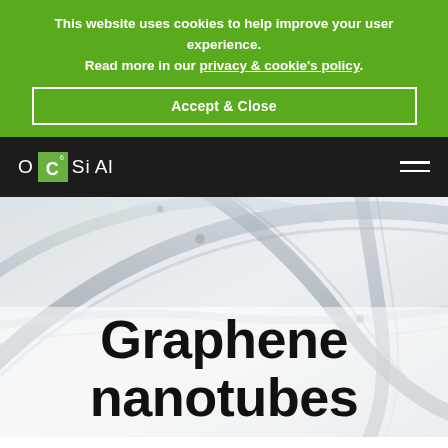This website uses cookies to help improve your user experience. Read more in our privacy & cookie's policy.
Accept & Close
[Figure (logo): OCSiAl company logo on dark navigation bar with hamburger menu icon]
[Figure (photo): Close-up photograph of graphene nanotubes, showing interwoven cylindrical nanotube structures in grey/silver tones on a light background]
Graphene nanotubes